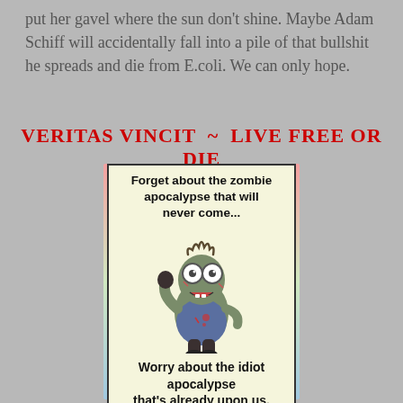put her gavel where the sun don't shine. Maybe Adam Schiff will accidentally fall into a pile of that bullshit he spreads and die from E.coli. We can only hope.
VERITAS VINCIT  ~  LIVE FREE OR DIE
[Figure (illustration): Meme image showing a zombie-like Minion character with text: 'Forget about the zombie apocalypse that will never come... Worry about the idiot apocalypse that's already upon us.']